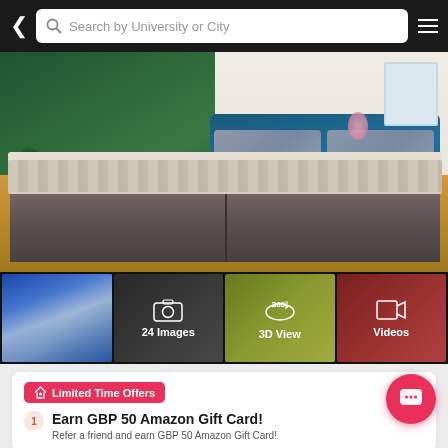Search by University or City
[Figure (photo): Bedroom interior with a bed with blue headboard, grey storage base, white bedding, plant on left, green wall, on wooden floor]
[Figure (photo): Thumbnail: lounge/living room interior]
[Figure (photo): Thumbnail with camera icon showing 24 Images]
[Figure (infographic): 360 degree 3D View button]
[Figure (infographic): Videos button]
Limited Time Offers
1 Earn GBP 50 Amazon Gift Card!
Refer a friend and earn GBP 50 Amazon Gift Card!